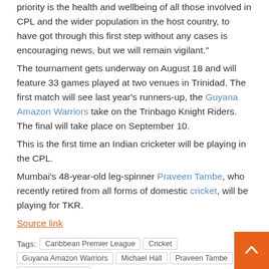Michael Hall, Tournament Operations Director, said: "Our main priority is the health and wellbeing of all those involved in CPL and the wider population in the host country, to have got through this first step without any cases is encouraging news, but we will remain vigilant."
The tournament gets underway on August 18 and will feature 33 games played at two venues in Trinidad. The first match will see last year's runners-up, the Guyana Amazon Warriors take on the Trinbago Knight Riders. The final will take place on September 10.
This is the first time an Indian cricketer will be playing in the CPL.
Mumbai's 48-year-old leg-spinner Praveen Tambe, who recently retired from all forms of domestic cricket, will be playing for TKR.
Source link
Tags: Caribbean Premier League | Cricket | Guyana Amazon Warriors | Michael Hall | Praveen Tambe | Queen's Park Oval
Previous
Amit Mishra still hopeful of making an India comeback | Cricket News – Times of India
BCCI claims 'in principle' govt approval for IPL in UAE; teams begin quarantining players |